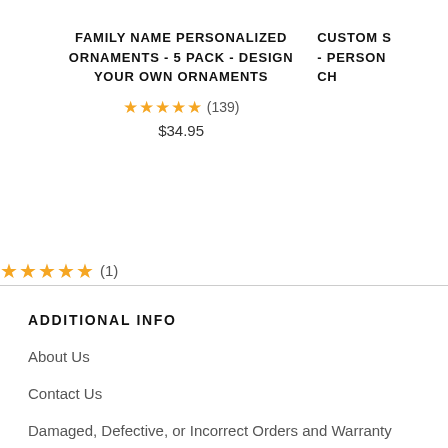FAMILY NAME PERSONALIZED ORNAMENTS - 5 PACK - DESIGN YOUR OWN ORNAMENTS
★★★★★ (139)
$34.95
CUSTOM S- - PERSON CH
★★★★★ (1)
ADDITIONAL INFO
About Us
Contact Us
Damaged, Defective, or Incorrect Orders and Warranty